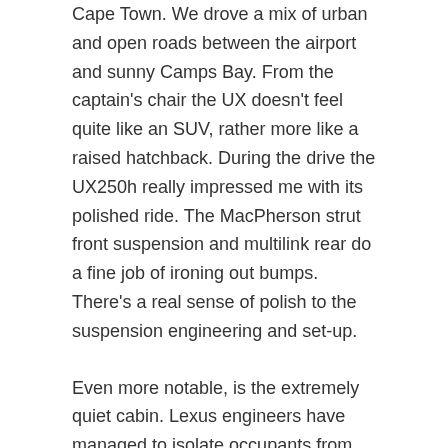Cape Town. We drove a mix of urban and open roads between the airport and sunny Camps Bay. From the captain's chair the UX doesn't feel quite like an SUV, rather more like a raised hatchback. During the drive the UX250h really impressed me with its polished ride. The MacPherson strut front suspension and multilink rear do a fine job of ironing out bumps. There's a real sense of polish to the suspension engineering and set-up.
Even more notable, is the extremely quiet cabin. Lexus engineers have managed to isolate occupants from external noise to a great degree and I, for one, really enjoy that trait.
Under power, the hybrid system and CVT work well in unison to provide a decent level of oomph. When coasting along or traveling downhill, the petrol engine shuts off